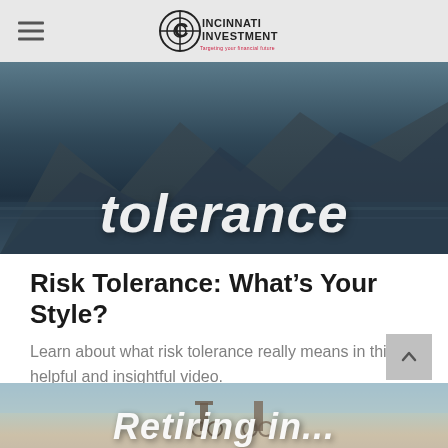Cincinnati Investment
[Figure (photo): Mountain landscape with icy peaks and water reflection, with large italic white text 'tolerance' overlaid]
Risk Tolerance: What’s Your Style?
Learn about what risk tolerance really means in this helpful and insightful video.
[Figure (photo): Two elderly people standing on a beach with bicycles looking at the ocean, with large italic white text 'Retiring in...' partially visible at bottom]